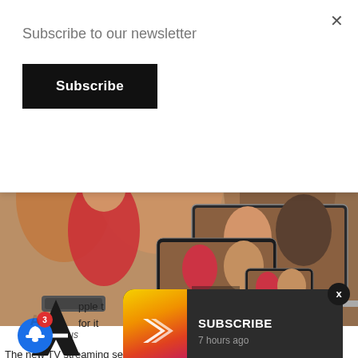Subscribe to our newsletter
Subscribe
[Figure (photo): Apple TV+ promotional image showing multiple Apple devices (Apple TV set-top box, iPad, iPhone, MacBook) displaying The Morning Show content – people at a formal event]
Apple-tv-plus
pple t
for it
[Figure (screenshot): Dark notification card with colorful gradient icon (yellow/pink/purple arrow shape) showing SUBSCRIBE text and '7 hours ago']
The new TV streaming service will be available globally fr